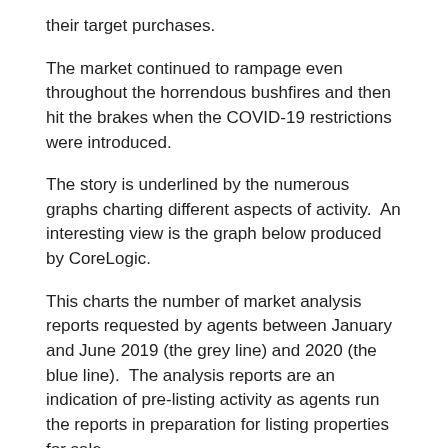their target purchases.
The market continued to rampage even throughout the horrendous bushfires and then hit the brakes when the COVID-19 restrictions were introduced.
The story is underlined by the numerous graphs charting different aspects of activity.  An interesting view is the graph below produced by CoreLogic.
This charts the number of market analysis reports requested by agents between January and June 2019 (the grey line) and 2020 (the blue line).  The analysis reports are an indication of pre-listing activity as agents run the reports in preparation for listing properties for sale.
There's many observations to be made, but two are stark.